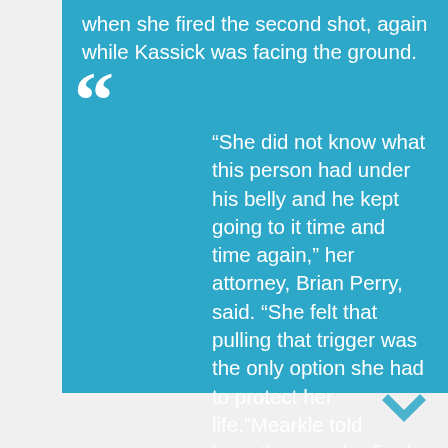when she fired the second shot, again while Kassick was facing the ground.
“She did not know what this person had under his belly and he kept going to it time and time again,” her attorney, Brian Perry, said. “She felt that pulling that trigger was the only option she had to protect her life.”Mearkle told investigators she fired because she believed Kassick was reaching for a gun in his jacket pocket and because he ignored her orders to show his hands. She acknowledged that she did not see him display anything that could have been considered a weapon, the complaint states.